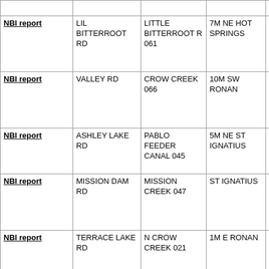|  | Road | Feature Crossed | Location | Structure Type |
| --- | --- | --- | --- | --- |
| NBI report | LIL BITTERROOT RD | LITTLE BITTERROOT R 061 | 7M NE HOT SPRINGS | Wood Stringer/M beam or girder (2 spans) |
| NBI report | VALLEY RD | CROW CREEK 066 | 10M SW RONAN | Wood Stringer/M beam or girder (2 spans) |
| NBI report | ASHLEY LAKE RD | PABLO FEEDER CANAL 045 | 5M NE ST IGNATIUS | Wood Stringer/M beam or girder |
| NBI report | MISSION DAM RD | MISSION CREEK 047 | ST IGNATIUS | Wood Stringer/M beam or girder (2 spans) |
| NBI report | TERRACE LAKE RD | N CROW CREEK 021 | 1M E RONAN | Steel Stringer/M beam or girder |
| NBI report | IRR - US 93 | FLATHEAD RIVER | POLSON | Prestress Stringer/M beam or girder (25 spans) |